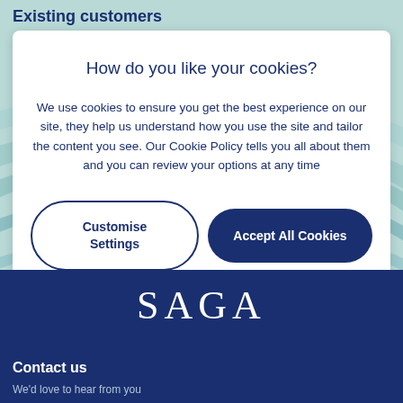Existing customers
How do you like your cookies?
We use cookies to ensure you get the best experience on our site, they help us understand how you use the site and tailor the content you see. Our Cookie Policy tells you all about them and you can review your options at any time
Customise Settings
Accept All Cookies
[Figure (logo): SAGA logo in white serif text on dark blue background]
Contact us
We'd love to hear from you